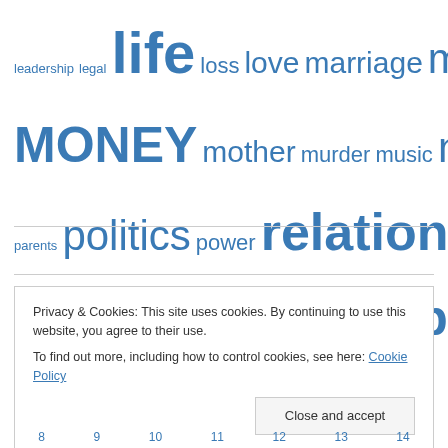[Figure (other): Tag cloud of topics including: leadership, legal, life, loss, love, marriage, media, Michigan, MONEY, mother, murder, music, news, opinion, parenting, parents, politics, power, relationships, respect, Robin Roberts, sadness, safety, skills, suicide, support, television, Time, trauma, United States, violence, world]
Privacy & Cookies: This site uses cookies. By continuing to use this website, you agree to their use.
To find out more, including how to control cookies, see here: Cookie Policy
Close and accept
8 9 10 11 12 13 14